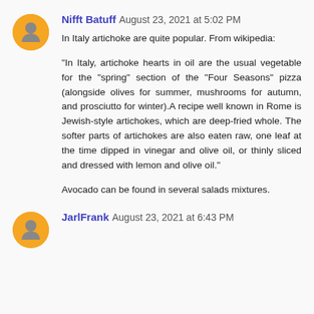Nifft Batuff August 23, 2021 at 5:02 PM
In Italy artichoke are quite popular. From wikipedia:

"In Italy, artichoke hearts in oil are the usual vegetable for the "spring" section of the "Four Seasons" pizza (alongside olives for summer, mushrooms for autumn, and prosciutto for winter).A recipe well known in Rome is Jewish-style artichokes, which are deep-fried whole. The softer parts of artichokes are also eaten raw, one leaf at the time dipped in vinegar and olive oil, or thinly sliced and dressed with lemon and olive oil."

Avocado can be found in several salads mixtures.
JarlFrank August 23, 2021 at 6:43 PM